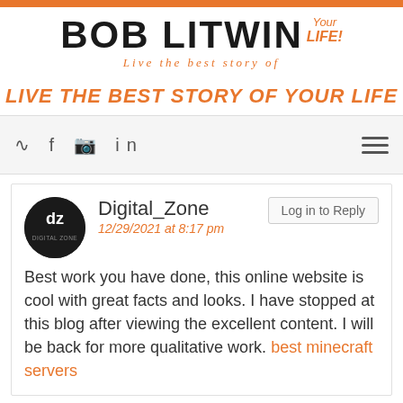[Figure (logo): Bob Litwin - Live the best story of Your LIFE! blog logo with orange accent]
LIVE THE BEST STORY OF YOUR LIFE
Navigation bar with RSS, Facebook, Instagram, LinkedIn icons and hamburger menu
Digital_Zone
12/29/2021 at 8:17 pm
Best work you have done, this online website is cool with great facts and looks. I have stopped at this blog after viewing the excellent content. I will be back for more qualitative work. best minecraft servers
Digital_Work
12/30/2021 at 5:13 am